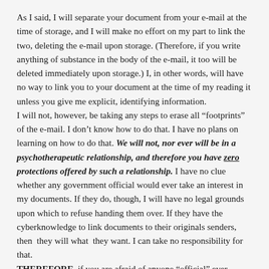As I said, I will separate your document from your e-mail at the time of storage, and I will make no effort on my part to link the two, deleting the e-mail upon storage. (Therefore, if you write anything of substance in the body of the e-mail, it too will be deleted immediately upon storage.) I, in other words, will have no way to link you to your document at the time of my reading it unless you give me explicit, identifying information.
I will not, however, be taking any steps to erase all “footprints” of the e-mail. I don’t know how to do that. I have no plans on learning on how to do that. We will not, nor ever will be in a psychotherapeutic relationship, and therefore you have zero protections offered by such a relationship. I have no clue whether any government official would ever take an interest in my documents. If they do, though, I will have no legal grounds upon which to refuse handing them over. If they have the cyberknowledge to link documents to their originals senders, then they will what they want. I can take no responsibility for that.
THEREFORE, if you are afraid of anyone “official” ever possibly reading what you write, then you should be accordingly careful. Remember: specific dates, names, places, often they are not that important as to the feeling of what happened or the haunting memory of